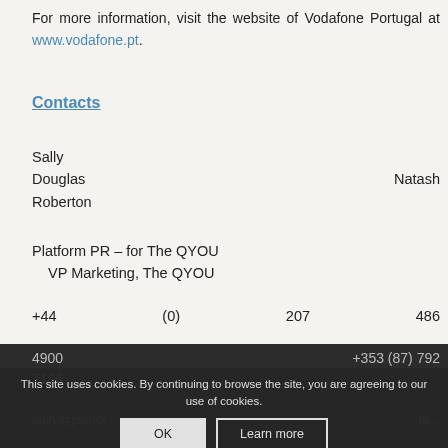For more information, visit the website of Vodafone Portugal at www.vodafone.pt.
Contacts
Sally
Douglas                                                          Natash
Roberton
Platform PR – for The QYOU
    VP Marketing, The QYOU
+44          (0)          207          486
4900                                    +353 (87) 792
7166
sally@platfor...                                                       ta...
This site uses cookies. By continuing to browse the site, you are agreeing to our use of cookies.